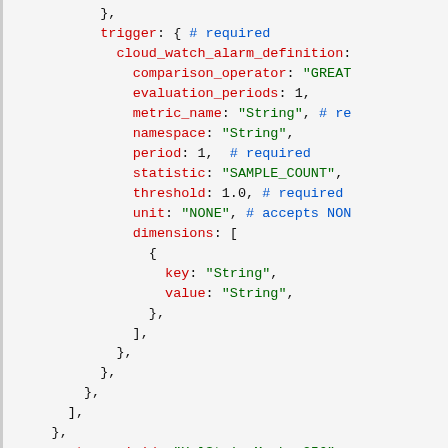Code snippet showing YAML/JSON configuration with trigger block containing cloud_watch_alarm_definition with fields: comparison_operator, evaluation_periods, metric_name, namespace, period, statistic, threshold, unit, dimensions; followed by custom_ami_id field.